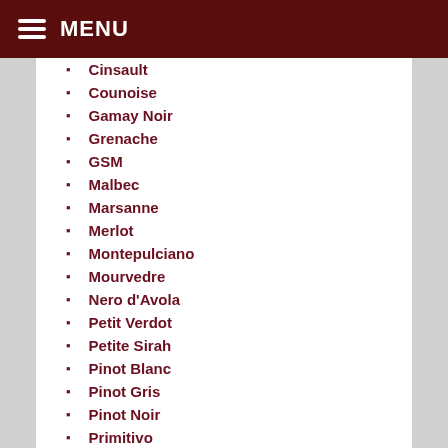MENU
Cinsault
Counoise
Gamay Noir
Grenache
GSM
Malbec
Marsanne
Merlot
Montepulciano
Mourvedre
Nero d'Avola
Petit Verdot
Petite Sirah
Pinot Blanc
Pinot Gris
Pinot Noir
Primitivo
Riesling
Rosé